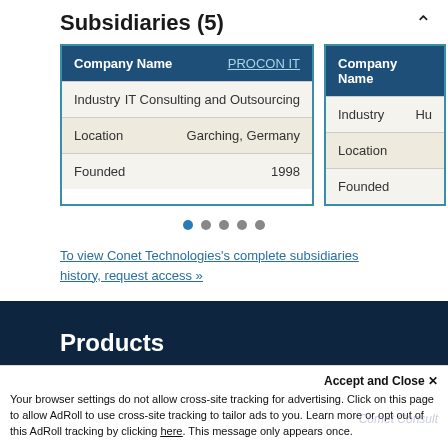Subsidiaries (5)
| Company Name | PROCON IT |
| --- | --- |
| Industry | IT Consulting and Outsourcing |
| Location | Garching, Germany |
| Founded | 1998 |
| Company Name | Hu… |
| --- | --- |
| Industry | Hu… |
| Location |  |
| Founded |  |
To view Conet Technologies's complete subsidiaries history, request access »
Products
Accept and Close ✕
Your browser settings do not allow cross-site tracking for advertising. Click on this page to allow AdRoll to use cross-site tracking to tailor ads to you. Learn more or opt out of this AdRoll tracking by clicking here. This message only appears once.